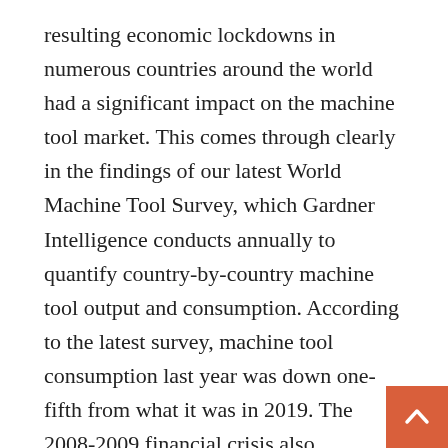resulting economic lockdowns in numerous countries around the world had a significant impact on the machine tool market. This comes through clearly in the findings of our latest World Machine Tool Survey, which Gardner Intelligence conducts annually to quantify country-by-country machine tool output and consumption. According to the latest survey, machine tool consumption last year was down one-fifth from what it was in 2019. The 2008-2009 financial crisis also significantly affected the global machine tool market and serves as an interesting comparison to what took place in 2020 (more about that in a bit).
Production was down, too, but there were slightly more (about 2%) machine tools produced than consumed in 2020. The good news is that machine...